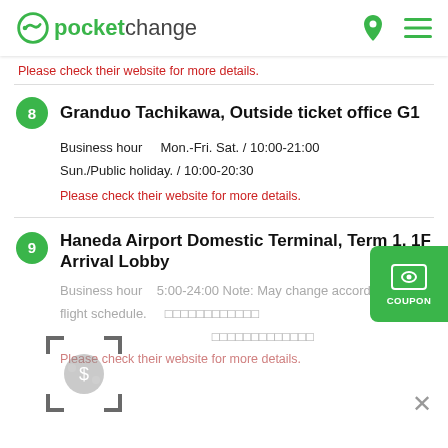pocketchange
Please check their website for more details.
8  Granduo Tachikawa, Outside ticket office G1
Business hour    Mon.-Fri. Sat. / 10:00-21:00
Sun./Public holiday. / 10:00-20:30
Please check their website for more details.
9  Haneda Airport Domestic Terminal, Term 1, 1F Arrival Lobby
Business hour    5:00-24:00 Note: May change according to flight schedule.
Please check their website for more details.